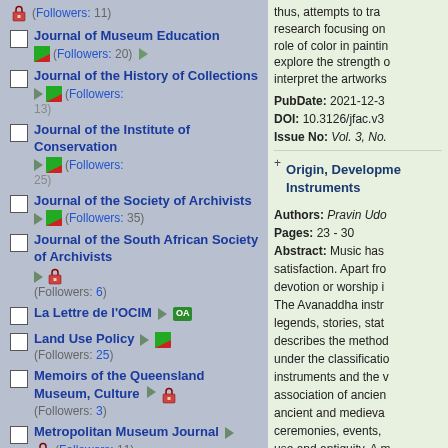(Followers: 11)
Journal of Museum Education (Followers: 20)
Journal of the History of Collections (Followers: 13)
Journal of the Institute of Conservation (Followers: 25)
Journal of the Society of Archivists (Followers: 35)
Journal of the South African Society of Archivists (Followers: 6)
La Lettre de l'OCIM
Land Use Policy (Followers: 25)
Memoirs of the Queensland Museum, Culture (Followers: 3)
Metropolitan Museum Journal (Followers: 11)
MIDAS
thus, attempts to trace research focusing on role of color in painting explore the strength of interpret the artworks
PubDate: 2021-12-3
DOI: 10.3126/jfac.v3
Issue No: Vol. 3, No.
Origin, Development Instruments
Authors: Pravin Udo
Pages: 23 - 30
Abstract: Music has satisfaction. Apart from devotion or worship i The Avanaddha instr legends, stories, stat describes the method under the classificatio instruments and the v association of ancien ancient and medieva ceremonies, events, use and antiquity. A m sources like; ancient have been used in m singer, accompany h
PubDate: 2021-12-3
DOI: 10.3126/jfa.v